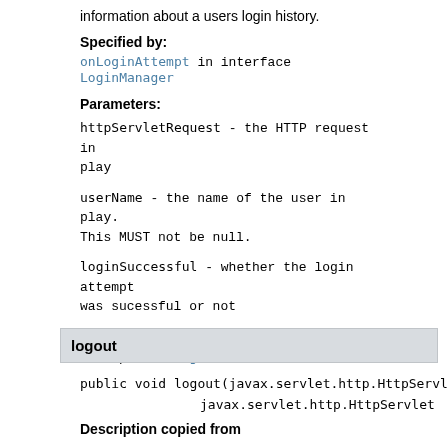information about a users login history.
Specified by:
onLoginAttempt in interface LoginManager
Parameters:
httpServletRequest - the HTTP request in play
userName - the name of the user in play. This MUST not be null.
loginSuccessful - whether the login attempt was sucessful or not
Returns:
the updated LoginInfo about the user
logout
public void logout(javax.servlet.http.HttpServlet javax.servlet.http.HttpServlet
Description copied from